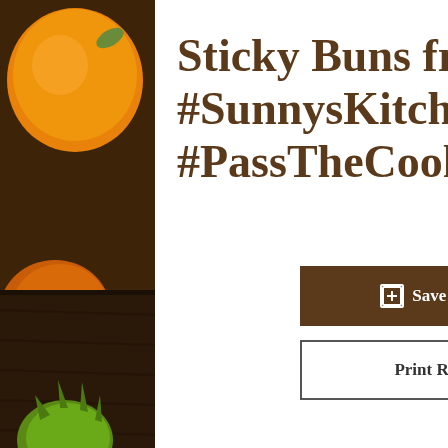[Figure (photo): Background photo of colorful autumn fruits and vegetables (oranges, green vegetables, red berries, yellow peppers) on a dark wooden surface, with a wooden cutting board and lined notebook on the right side.]
Sticky Buns from #SunnysKitchen for #PassTheCookbook Club
⊕ Save Recipe
Print Recipe